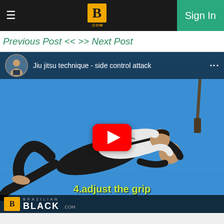≡  B .COM  Sign In
Previous Post << >> Next Post
[Figure (screenshot): YouTube video thumbnail showing a Jiu jitsu technique - side control attack. Two practitioners on a blue mat, one in black gi on bottom, one in white gi on top. Red YouTube play button in center. Subtitle reads '4.adjust the grip'. Brazilian Black .com logo in bottom left corner.]